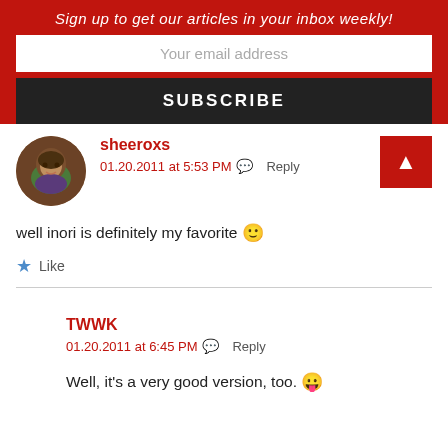Sign up to get our articles in your inbox weekly!
Your email address
SUBSCRIBE
sheeroxs
01.20.2011 at 5:53 PM  Reply
well inori is definitely my favorite 🙂
★ Like
TWWK
01.20.2011 at 6:45 PM  Reply
Well, it's a very good version, too. 😛